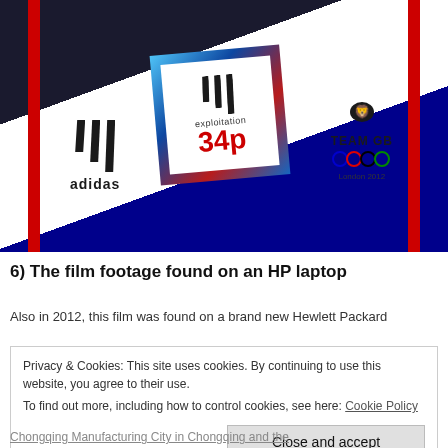[Figure (photo): Photo of an Adidas Team GB London 2012 Olympic shirt with a sticker/label reading 'exploitation 34p' overlaid on the chest area, showing Adidas logo on left, exploitation badge in center, and Team GB Olympic logo on right.]
6) The film footage found on an HP laptop
Also in 2012, this film was found on a brand new Hewlett Packard
Privacy & Cookies: This site uses cookies. By continuing to use this website, you agree to their use.
To find out more, including how to control cookies, see here: Cookie Policy
Close and accept
Chongqing Manufacturing City in Chongqing and the